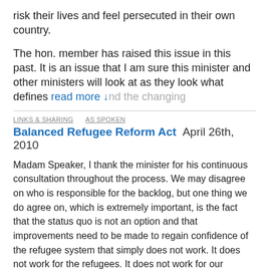risk their lives and feel persecuted in their own country.
The hon. member has raised this issue in this past. It is an issue that I am sure this minister and other ministers will look at as they look what defines read more ↓ nd the changing
LINKS & SHARING    AS SPOKEN
Balanced Refugee Reform Act  April 26th, 2010
Madam Speaker, I thank the minister for his continuous consultation throughout the process. We may disagree on who is responsible for the backlog, but one thing we do agree on, which is extremely important, is the fact that the status quo is not an option and that improvements need to be made to regain confidence of the refugee system that simply does not work. It does not work for the refugees. It does not work for our reputation as a country. It is simply a system that we really need to roll up our sleeves and make improvements on.
Toward that end, I want to take this opportunity to thank so many members of the Liberal caucus who throughout the